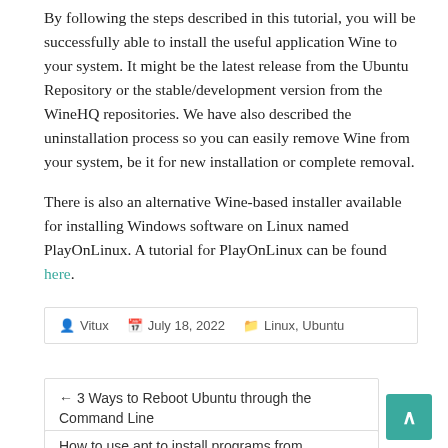By following the steps described in this tutorial, you will be successfully able to install the useful application Wine to your system. It might be the latest release from the Ubuntu Repository or the stable/development version from the WineHQ repositories. We have also described the uninstallation process so you can easily remove Wine from your system, be it for new installation or complete removal.
There is also an alternative Wine-based installer available for installing Windows software on Linux named PlayOnLinux. A tutorial for PlayOnLinux can be found here.
Vitux   July 18, 2022   Linux, Ubuntu
← 3 Ways to Reboot Ubuntu through the Command Line
How to use apt to install programs from command line in Debian 11 →